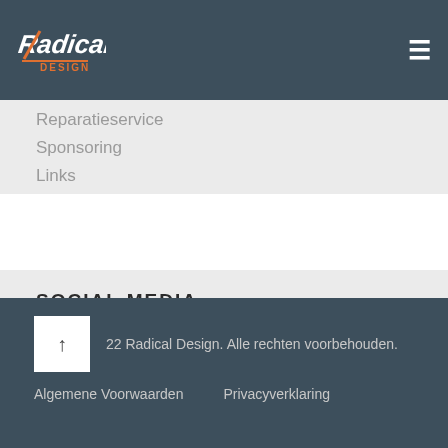[Figure (logo): Radical Design logo in white and orange on dark header]
Reparatieservice
Sponsoring
Links
SOCIAL MEDIA
[Figure (infographic): Three orange social media icons: Instagram, YouTube, Facebook]
22 Radical Design. Alle rechten voorbehouden.
Algemene Voorwaarden   Privacyverklaring